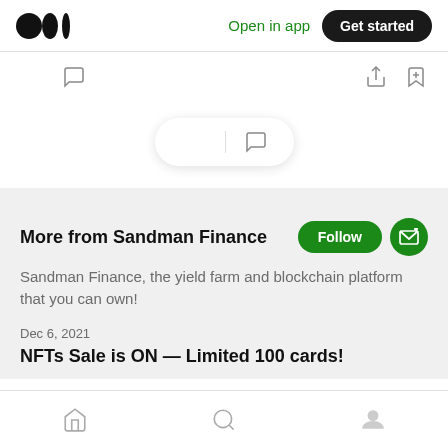Open in app  Get started
[Figure (screenshot): Medium app interface screenshot showing top navigation bar with Medium logo, Open in app link, Get started button, action icons, floating pill with clap and comment icons, and a content section for Sandman Finance with Follow button, description, article date and title]
More from Sandman Finance
Sandman Finance, the yield farm and blockchain platform that you can own!
Dec 6, 2021
NFTs Sale is ON — Limited 100 cards!
Home  Search  Profile